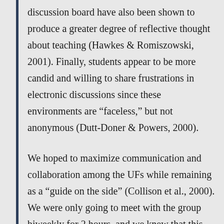discussion board have also been shown to produce a greater degree of reflective thought about teaching (Hawkes & Romiszowski, 2001). Finally, students appear to be more candid and willing to share frustrations in electronic discussions since these environments are “faceless,” but not anonymous (Dutt-Doner & Powers, 2000).
We hoped to maximize communication and collaboration among the UFs while remaining as a “guide on the side” (Collison et al., 2000). We were only going to meet with the group biweekly for 2 hours, and we knew that this time period would not be sufficient to allow all the UFs to